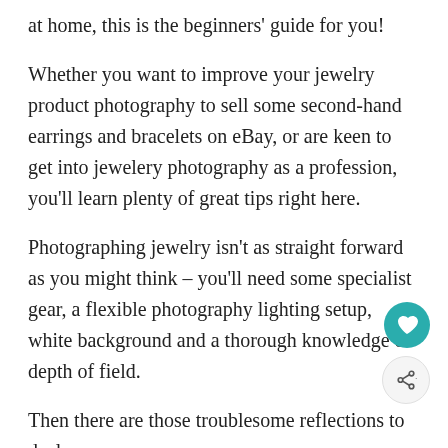at home, this is the beginners' guide for you!
Whether you want to improve your jewelry product photography to sell some second-hand earrings and bracelets on eBay, or are keen to get into jewelery photography as a profession, you'll learn plenty of great tips right here.
Photographing jewelry isn't as straight forward as you might think – you'll need some specialist gear, a flexible photography lighting setup, white background and a thorough knowledge of depth of field.
Then there are those troublesome reflections to deal